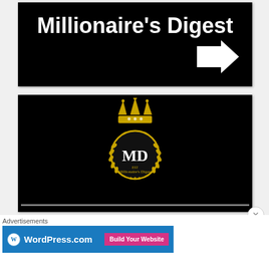[Figure (logo): Millionaire's Digest black banner with white bold text and a white right-pointing arrow in the bottom right]
[Figure (logo): Millionaire's Digest logo on black background: gold crown on top of a circular gold laurel wreath emblem with 'MD' in white serif letters and 'Millionaire's Digest' text, with a white progress bar at bottom]
Advertisements
[Figure (screenshot): WordPress.com advertisement banner in blue with WordPress logo and 'Build Your Website' pink button]